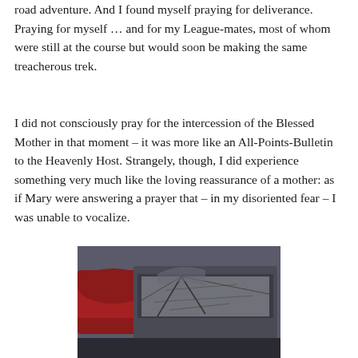road adventure. And I found myself praying for deliverance. Praying for myself … and for my League-mates, most of whom were still at the course but would soon be making the same treacherous trek.
I did not consciously pray for the intercession of the Blessed Mother in that moment – it was more like an All-Points-Bulletin to the Heavenly Host. Strangely, though, I did experience something very much like the loving reassurance of a mother: as if Mary were answering a prayer that – in my disoriented fear – I was unable to vocalize.
[Figure (photo): A photograph showing a damaged car with a shattered/cracked windshield, next to a red vehicle, in what appears to be a parking area.]